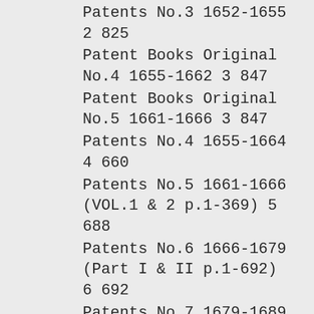Patents No.3 1652-1655 2 825
Patent Books Original No.4 1655-1662 3 847
Patent Books Original No.5 1661-1666 3 847
Patents No.4 1655-1664 4 660
Patents No.5 1661-1666 (VOL.1 & 2 p.1-369) 5 688
Patents No.6 1666-1679 (Part I & II p.1-692) 6 692
Patents No.7 1679-1689 (VOL.1 & 2 p.1-719) 7 719
Patents No.8 1689-1695 8 453
Patents No.9 1697-1706 (VOL.1 & 2 p.1-742) 9 742